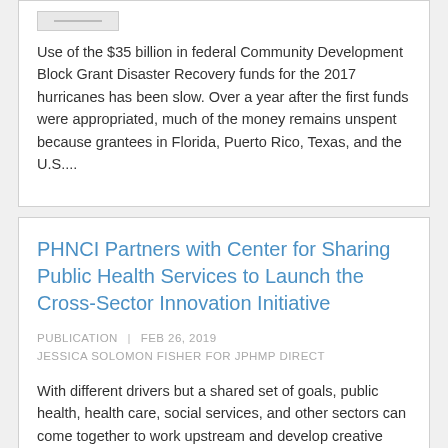[Figure (other): Small thumbnail placeholder image with lines]
Use of the $35 billion in federal Community Development Block Grant Disaster Recovery funds for the 2017 hurricanes has been slow. Over a year after the first funds were appropriated, much of the money remains unspent because grantees in Florida, Puerto Rico, Texas, and the U.S....
PHNCI Partners with Center for Sharing Public Health Services to Launch the Cross-Sector Innovation Initiative
PUBLICATION | FEB 26, 2019
JESSICA SOLOMON FISHER FOR JPHMP DIRECT
With different drivers but a shared set of goals, public health, health care, social services, and other sectors can come together to work upstream and develop creative solutions to solve the complex problems facing communities today....